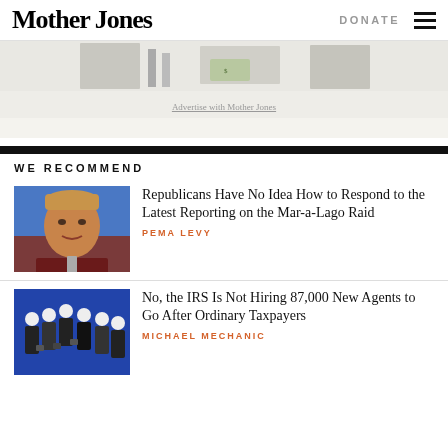Mother Jones | DONATE
[Figure (illustration): Advertisement banner image with sketched figures and money, partial view]
Advertise with Mother Jones
WE RECOMMEND
[Figure (photo): Photo of Donald Trump speaking at a podium with blue background]
Republicans Have No Idea How to Respond to the Latest Reporting on the Mar-a-Lago Raid
PEMA LEVY
[Figure (photo): Black and white photo of multiple figures in suits bowing or marching on blue background]
No, the IRS Is Not Hiring 87,000 New Agents to Go After Ordinary Taxpayers
MICHAEL MECHANIC